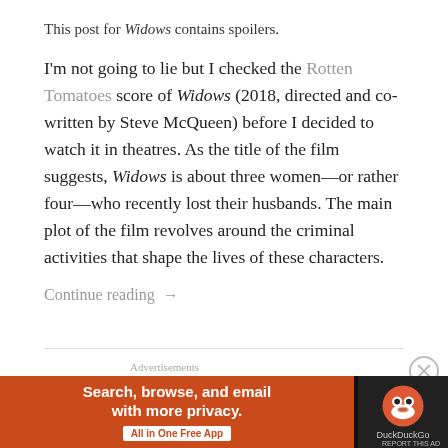This post for Widows contains spoilers.
I'm not going to lie but I checked the Rotten Tomatoes score of Widows (2018, directed and co-written by Steve McQueen) before I decided to watch it in theatres. As the title of the film suggests, Widows is about three women—or rather four—who recently lost their husbands. The main plot of the film revolves around the criminal activities that shape the lives of these characters.
Continue reading →
Advertisements
[Figure (screenshot): DuckDuckGo advertisement banner: orange left panel with text 'Search, browse, and email with more privacy. All in One Free App' and dark right panel with DuckDuckGo duck logo and brand name.]